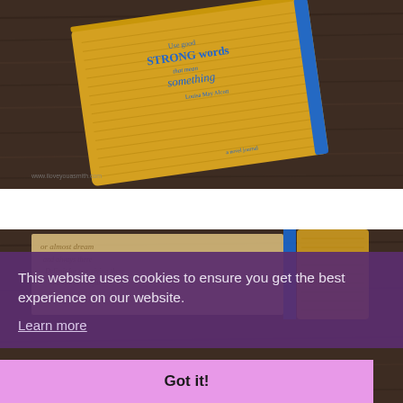[Figure (photo): Yellow/gold Louisa May Alcott novel journal with blue elastic band, lying on a dark wooden surface. The cover reads 'Use good STRONG words that mean something - Louisa May Alcott - a novel journal'. Website watermark: www.iloveyouamith.com]
[Figure (photo): Partial view of the same yellow journal showing handwritten pages interior and blue elastic band, on dark wood surface. Part of journal spine visible.]
This website uses cookies to ensure you get the best experience on our website.
Learn more
Got it!